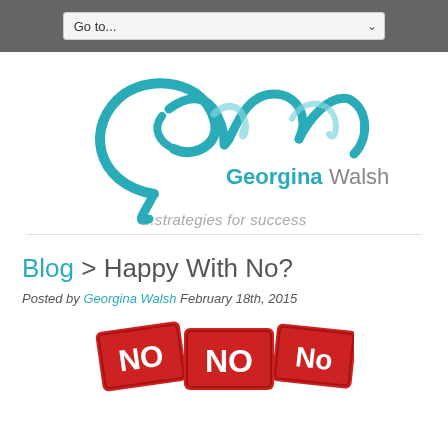Go to...
[Figure (logo): Georgina Walsh logo with teal ribbon initials GW and text 'Georgina Walsh ...strategies for success']
Blog > Happy With No?
Posted by Georgina Walsh February 18th, 2015
[Figure (photo): Red NO signs stacked together, partially visible at bottom of page]